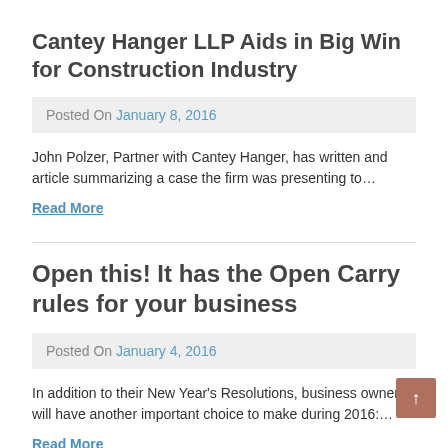Cantey Hanger LLP Aids in Big Win for Construction Industry
Posted On January 8, 2016
John Polzer, Partner with Cantey Hanger, has written and article summarizing a case the firm was presenting to…
Read More
Open this! It has the Open Carry rules for your business
Posted On January 4, 2016
In addition to their New Year's Resolutions, business owners will have another important choice to make during 2016:…
Read More